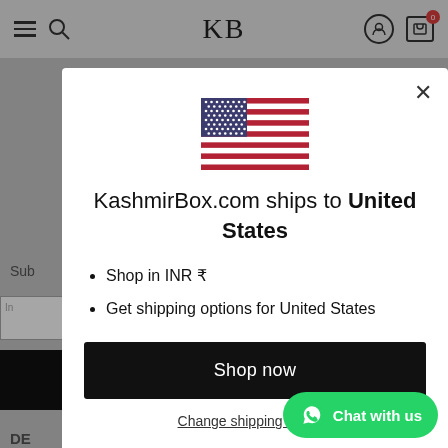KB
[Figure (illustration): US flag icon displayed in modal dialog]
KashmirBox.com ships to United States
Shop in INR ₹
Get shipping options for United States
Shop now
Change shipping country
Chat with us